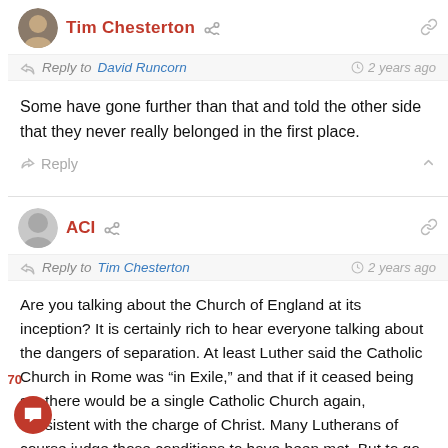Tim Chesterton
Reply to David Runcorn  2 years ago
Some have gone further than that and told the other side that they never really belonged in the first place.
Reply
ACI
Reply to Tim Chesterton  2 years ago
Are you talking about the Church of England at its inception? It is certainly rich to hear everyone talking about the dangers of separation. At least Luther said the Catholic Church in Rome was “in Exile,” and that if it ceased being so, there would be a single Catholic Church again, consistent with the charge of Christ. Many Lutherans of course judge those conditions to have been met. But to go on about sad divisions here at TA is a horse gone from a barn, and parochial to boot. The AC is unraveling. Just read the recent Global South